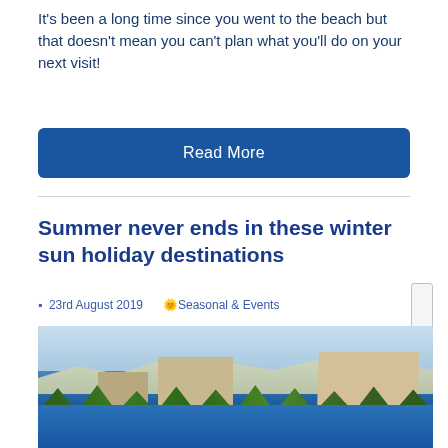It's been a long time since you went to the beach but that doesn't mean you can't plan what you'll do on your next visit!
Read More
Summer never ends in these winter sun holiday destinations
23rd August 2019  🌟Seasonal & Events
[Figure (photo): Aerial view of a seaside hotel resort with buildings, palm trees, and blue sea water]